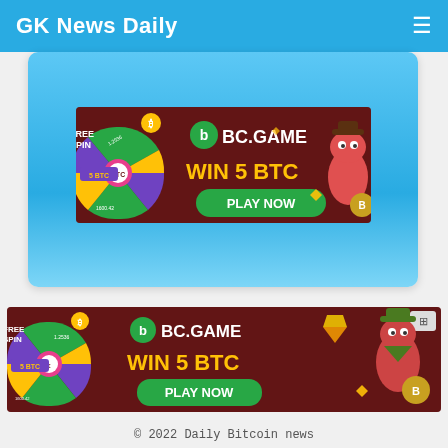GK News Daily
[Figure (illustration): BC.GAME advertisement banner: Free Spin wheel on left showing 5 BTC prize, BC.GAME logo, WIN 5 BTC text in yellow, green PLAY NOW button, cartoon cowboy dinosaur character on right, dark red background]
[Figure (illustration): BC.GAME advertisement banner (second instance): Free Spin wheel on left showing 5 BTC prize, BC.GAME logo, WIN 5 BTC text in yellow, green PLAY NOW button, cartoon cowboy dinosaur character on right, dark red background]
© 2022 Daily Bitcoin news